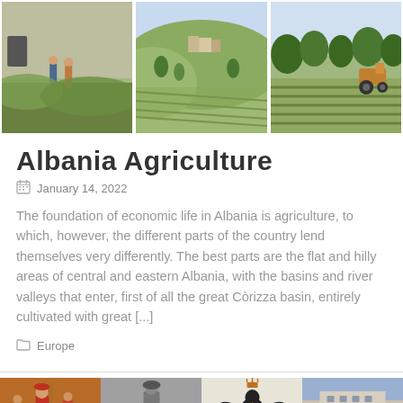[Figure (photo): Three side-by-side agricultural photos of Albania: workers in a field, hillside farmland, and a tractor in rows]
Albania Agriculture
January 14, 2022
The foundation of economic life in Albania is agriculture, to which, however, the different parts of the country lend themselves very differently. The best parts are the flat and hilly areas of central and eastern Albania, with the basins and river valleys that enter, first of all the great Còrizza basin, entirely cultivated with great [...]
Europe
[Figure (photo): Four side-by-side photos at the bottom of the page showing historical and cultural scenes of Albania/Austria]